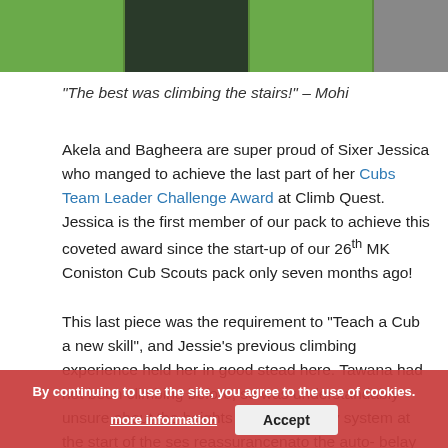[Figure (photo): Three photos of green climbing wall structures and gym equipment at Climb Quest]
“The best was climbing the stairs!” – Mohi
Akela and Bagheera are super proud of Sixer Jessica who manged to achieve the last part of her Cubs Team Leader Challenge Award at Climb Quest. Jessica is the first member of our pack to achieve this coveted award since the start-up of our 26th MK Coniston Cub Scouts pack only seven months ago!
This last piece was the requirement to “Teach a Cub a new skill”, and Jessie’s previous climbing experience held her in good stead here. Tawana had not been climbing before, so was understandably unsure about the heights and auto-belay system at the start of the ses... reassurance... na... to the auto-belay system following the instructor’s guidance and gave Tawana encouragement by climbing alongside
By continuing to use the site, you agree to the use of cookies. more information Accept